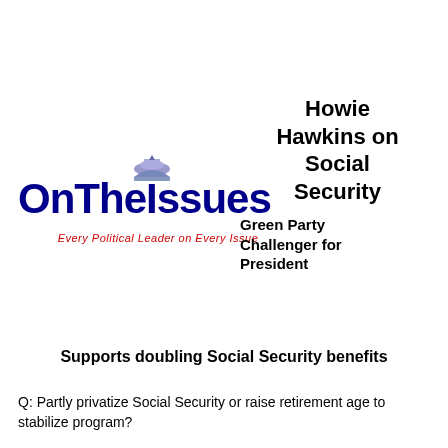[Figure (logo): OnTheIssues logo with capitol dome graphic and tagline 'Every Political Leader on Every Issue']
Howie Hawkins on Social Security
Green Party Challenger for President
Supports doubling Social Security benefits
Q: Partly privatize Social Security or raise retirement age to stabilize program?